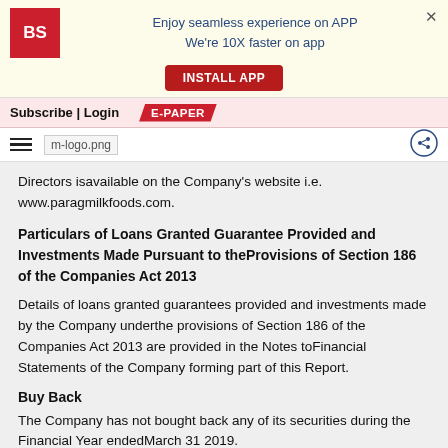[Figure (screenshot): Business Standard app install banner with BS logo, text 'Enjoy seamless experience on APP We're 10X faster on app', INSTALL APP button, and close X]
Subscribe | Login   E-PAPER
hamburger menu, m-logo.png, share icon
Directors isavailable on the Company's website i.e. www.paragmilkfoods.com.
Particulars of Loans Granted Guarantee Provided and Investments Made Pursuant to theProvisions of Section 186 of the Companies Act 2013
Details of loans granted guarantees provided and investments made by the Company underthe provisions of Section 186 of the Companies Act 2013 are provided in the Notes toFinancial Statements of the Company forming part of this Report.
Buy Back
The Company has not bought back any of its securities during the Financial Year endedMarch 31 2019.